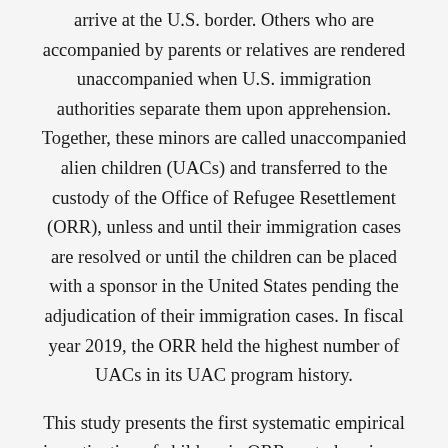arrive at the U.S. border. Others who are accompanied by parents or relatives are rendered unaccompanied when U.S. immigration authorities separate them upon apprehension. Together, these minors are called unaccompanied alien children (UACs) and transferred to the custody of the Office of Refugee Resettlement (ORR), unless and until their immigration cases are resolved or until the children can be placed with a sponsor in the United States pending the adjudication of their immigration cases. In fiscal year 2019, the ORR held the highest number of UACs in its UAC program history.
This study presents the first systematic empirical investigation of children in ORR custody using a